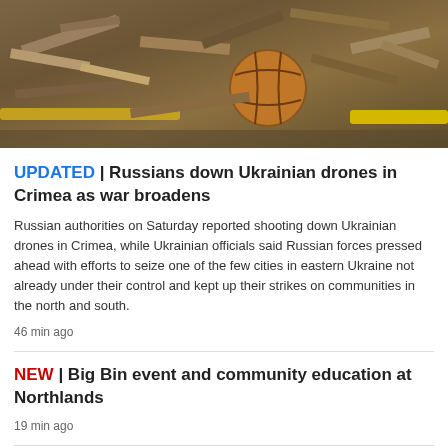[Figure (photo): Debris and rubble scene, likely war damage, with what appears to be a basketball and wooden planks among destroyed materials]
UPDATED | Russians down Ukrainian drones in Crimea as war broadens
Russian authorities on Saturday reported shooting down Ukrainian drones in Crimea, while Ukrainian officials said Russian forces pressed ahead with efforts to seize one of the few cities in eastern Ukraine not already under their control and kept up their strikes on communities in the north and south.
46 min ago
NEW | Big Bin event and community education at Northlands
19 min ago